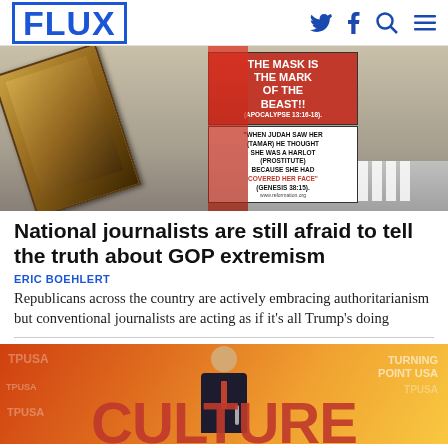FLUX
[Figure (photo): Person holding a sign that reads 'THE MASK IS THE MARK OF THE BEAST!! (APOCALYPSE 13:16-18). When Judah saw her (Tamar) he thought she was a harlot (prostitute) because she had COVERED HER FACE (GENESIS 38:15). www.reformation.org' alongside a wooden plank on a street.]
National journalists are still afraid to tell the truth about GOP extremism
ERIC BOEHLERT
Republicans across the country are actively embracing authoritarianism but conventional journalists are acting as if it's all Trump's doing
[Figure (photo): A young man in a suit speaking at a Turning Point USA event, holding a microphone, with a large red 'CULTURE' text visible at the bottom and the TPUSA logo repeated in the background.]